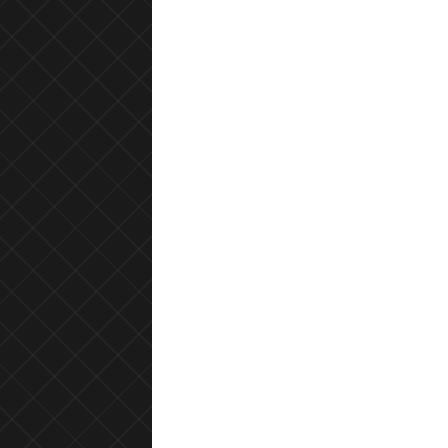Western technology is not advancement. That is the business of the demons. It does not advance society. Society is advanced by simple living and high thinking. Not this